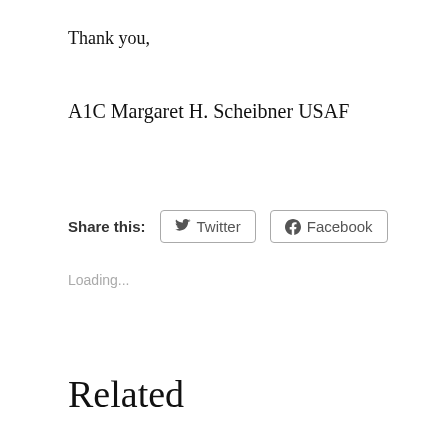Thank you,
A1C Margaret H. Scheibner USAF
Share this:  Twitter  Facebook
Loading...
Related